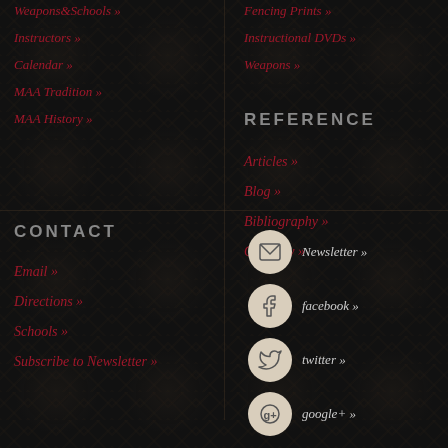Weapons&Schools »
Instructors »
Calendar »
MAA Tradition »
MAA History »
Fencing Prints »
Instructional DVDs »
Weapons »
REFERENCE
Articles »
Blog »
Bibliography »
Glossary »
CONTACT
Email »
Directions »
Schools »
Subscribe to Newsletter »
Newsletter »
facebook »
twitter »
google+ »